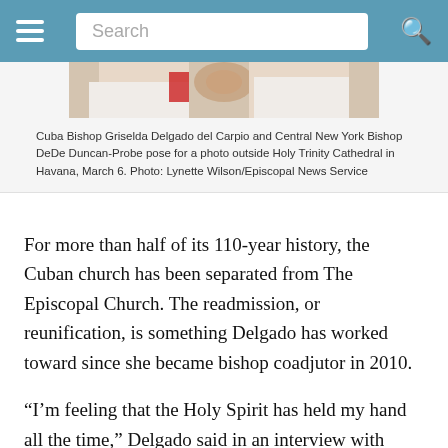Search
[Figure (photo): Partial photo of Cuba Bishop Griselda Delgado del Carpio and Central New York Bishop DeDe Duncan-Probe, cropped at the top]
Cuba Bishop Griselda Delgado del Carpio and Central New York Bishop DeDe Duncan-Probe pose for a photo outside Holy Trinity Cathedral in Havana, March 6. Photo: Lynette Wilson/Episcopal News Service
For more than half of its 110-year history, the Cuban church has been separated from The Episcopal Church. The readmission, or reunification, is something Delgado has worked toward since she became bishop coadjutor in 2010.
“I’m feeling that the Holy Spirit has held my hand all the time,” Delgado said in an interview with ENS. “As a human being, I wouldn’t have had the capacity without the strength of the Holy Spirit. I believe this moment was